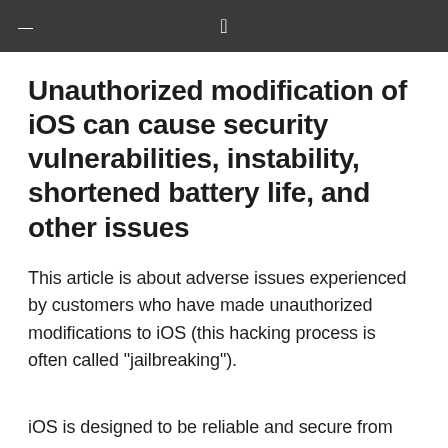≡
Unauthorized modification of iOS can cause security vulnerabilities, instability, shortened battery life, and other issues
This article is about adverse issues experienced by customers who have made unauthorized modifications to iOS (this hacking process is often called "jailbreaking").
iOS is designed to be reliable and secure from the moment you turn on your device. Built-in security